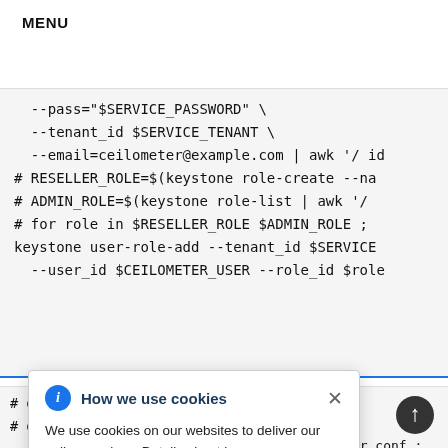MENU
--pass="$SERVICE_PASSWORD" \
  --tenant_id $SERVICE_TENANT \
  --email=ceilometer@example.com | awk '/ id
# RESELLER_ROLE=$(keystone role-create --na
# ADMIN_ROLE=$(keystone role-list | awk '/
# for role in $RESELLER_ROLE $ADMIN_ROLE ;
keystone user-role-add --tenant_id $SERVICE
  --user_id $CEILOMETER_USER --role_id $role
How we use cookies
We use cookies on our websites to deliver our online services. Details about how we use cookies and how you may disable them are set out in our Privacy Statement. By using this website you agree to our use of cookies.
# openstack-config --set /etc/ceilometer/ce
# openstack-config --set /etc/ceilometer/ce